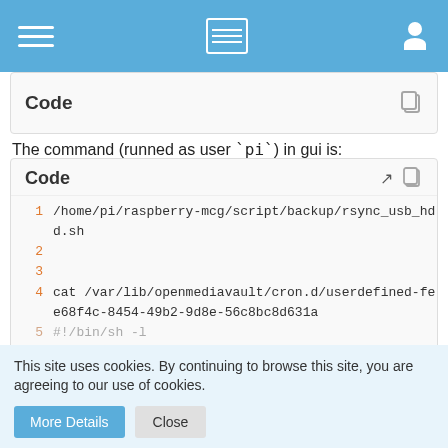Navigation bar with menu, list, and user icons
Code
The command (runned as user `pi`) in gui is:
Code
1 /home/pi/raspberry-mcg/script/backup/rsync_usb_hdd.sh
2
3
4 cat /var/lib/openmediavault/cron.d/userdefined-fee68f4c-8454-49b2-9d8e-56c8bc8d631a
5 #!/bin/sh -l
This site uses cookies. By continuing to browse this site, you are agreeing to our use of cookies.